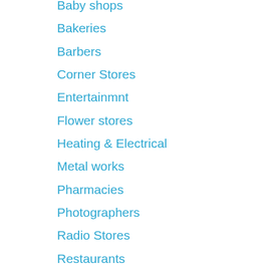Baby shops
Bakeries
Barbers
Corner Stores
Entertainmnt
Flower stores
Heating & Electrical
Metal works
Pharmacies
Photographers
Radio Stores
Restaurants
Window Dressings
Sign Preservation